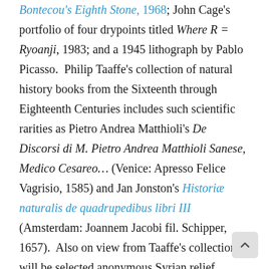Bontecou's Eighth Stone, 1968; John Cage's portfolio of four drypoints titled Where R = Ryoanji, 1983; and a 1945 lithograph by Pablo Picasso. Philip Taaffe's collection of natural history books from the Sixteenth through Eighteenth Centuries includes such scientific rarities as Pietro Andrea Matthioli's De Discorsi di M. Pietro Andrea Matthioli Sanese, Medico Cesareo... (Venice: Apresso Felice Vagrisio, 1585) and Jan Jonston's Historiæ naturalis de quadrupedibus libri III (Amsterdam: Joannem Jacobi fil. Schipper, 1657). Also on view from Taaffe's collection will be selected anonymous Syrian relief prints. Selections from Richard Tuttle's print collection include a 1944 Josef Albers woodcut titled Tlaloc and significant group of German Romantic and Symbolist prints, including Carl Wilhelm Kolbe's Die Kuh im Schilfe (Cow in the Rushes), 1799/1800, and